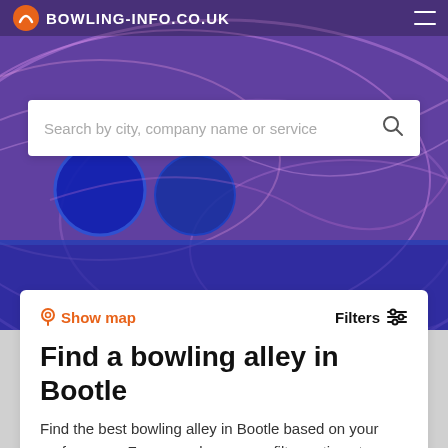[Figure (screenshot): Hero background image showing bowling alley with blue bowling balls and colorful patterned carpet]
BOWLING-INFO.CO.UK
Search by city, company name or service
Show map
Filters
Find a bowling alley in Bootle
Find the best bowling alley in Bootle based on your preferences. For example, use our filter options to search for public bowling, private hire or members only. In our Terms and Conditions you will find more information about how our search results are generated.
Add your company
It's free →